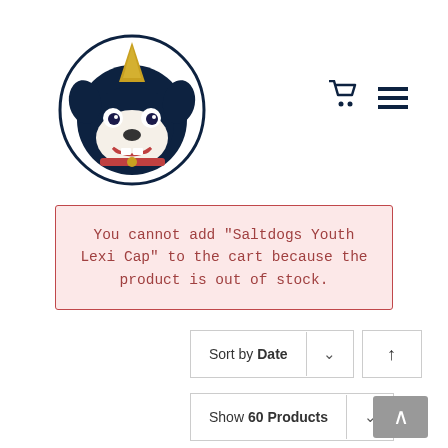[Figure (logo): Saltdogs mascot logo — dark navy bulldog with a yellow horn/spike on forehead, wearing a collar, cartoon style]
You cannot add "Saltdogs Youth Lexi Cap" to the cart because the product is out of stock.
Sort by Date
Show 60 Products